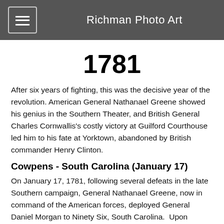Richman Photo Art
1781
After six years of fighting, this was the decisive year of the revolution. American General Nathanael Greene showed his genius in the Southern Theater, and British General Charles Cornwallis's costly victory at Guilford Courthouse led him to his fate at Yorktown, abandoned by British commander Henry Clinton.
Cowpens - South Carolina (January 17)
On January 17, 1781, following several defeats in the late Southern campaign, General Nathanael Greene, now in command of the American forces, deployed General Daniel Morgan to Ninety Six, South Carolina.  Upon learning of his encampment along the Pacolet River, British General Charles Cornwallis sent Colonel Banastre Tarleton to engage.  Following reconnaissance by American cavalry that detected the British, Morgan situated his forces on tactically sound terrain at Hannah's Cow Pens.  He set up three lines of defense, headed by a